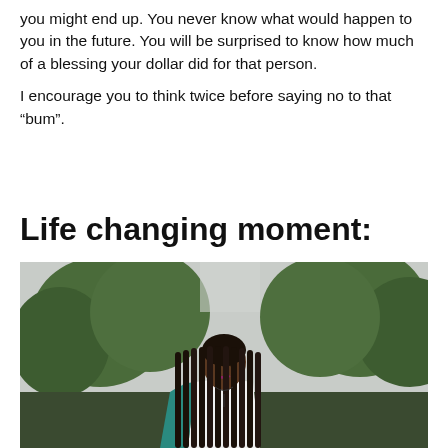you might end up. You never know what would happen to you in the future. You will be surprised to know how much of a blessing your dollar did for that person.

I encourage you to think twice before saying no to that “bum”.
Life changing moment:
[Figure (photo): A young Black woman with long black box braids, wearing a white off-shoulder top and a teal jacket, looking downward. She is standing outdoors with green trees in the background and an overcast sky.]